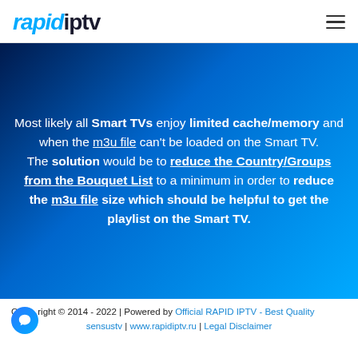rapidiptv (logo) with hamburger menu
Most likely all Smart TVs enjoy limited cache/memory and when the m3u file can't be loaded on the Smart TV. The solution would be to reduce the Country/Groups from the Bouquet List to a minimum in order to reduce the m3u file size which should be helpful to get the playlist on the Smart TV.
Copyright © 2014 - 2022 | Powered by Official RAPID IPTV - Best Quality sensustv | www.rapidiptv.ru | Legal Disclaimer